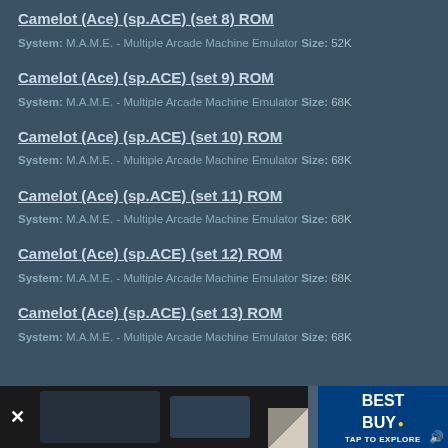Camelot (Ace) (sp.ACE) (set 8) ROM
System: M.A.M.E. - Multiple Arcade Machine Emulator Size: 52K
Camelot (Ace) (sp.ACE) (set 9) ROM
System: M.A.M.E. - Multiple Arcade Machine Emulator Size: 68K
Camelot (Ace) (sp.ACE) (set 10) ROM
System: M.A.M.E. - Multiple Arcade Machine Emulator Size: 68K
Camelot (Ace) (sp.ACE) (set 11) ROM
System: M.A.M.E. - Multiple Arcade Machine Emulator Size: 68K
Camelot (Ace) (sp.ACE) (set 12) ROM
System: M.A.M.E. - Multiple Arcade Machine Emulator Size: 68K
Camelot (Ace) (sp.ACE) (set 13) ROM
System: M.A.M.E. - Multiple Arcade Machine Emulator Size: 68K
[Figure (screenshot): Advertisement banner at the bottom of the page showing a Best Buy ad with 'TAP TO EXPLORE' button and a close (X) button on the left.]